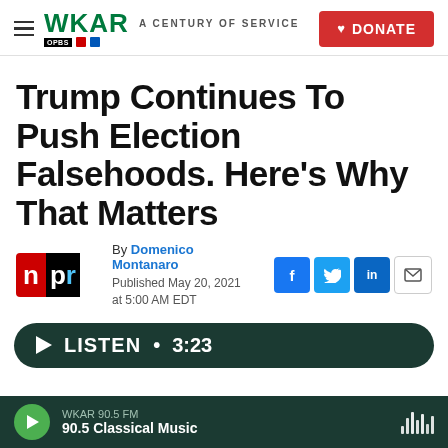WKAR · A CENTURY OF SERVICE · DONATE
Trump Continues To Push Election Falsehoods. Here's Why That Matters
By Domenico Montanaro
Published May 20, 2021 at 5:00 AM EDT
[Figure (other): NPR logo — red N on left, black pr on right, with blue r]
[Figure (other): Social sharing icons: Facebook (f), Twitter (bird), LinkedIn (in), Email (envelope)]
LISTEN • 3:23
WKAR 90.5 FM · 90.5 Classical Music